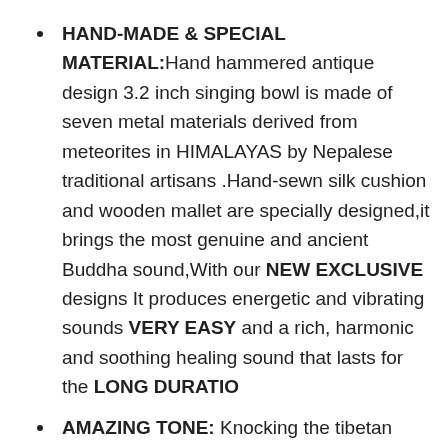HAND-MADE & SPECIAL MATERIAL:Hand hammered antique design 3.2 inch singing bowl is made of seven metal materials derived from meteorites in HIMALAYAS by Nepalese traditional artisans .Hand-sewn silk cushion and wooden mallet are specially designed,it brings the most genuine and ancient Buddha sound,With our NEW EXCLUSIVE designs It produces energetic and vibrating sounds VERY EASY and a rich, harmonic and soothing healing sound that lasts for the LONG DURATIO
AMAZING TONE: Knocking the tibetan singing bowl can make a wonderful “overtone sound”,Unique tones is graceful and steady will help us reach a peaceful mental status. a